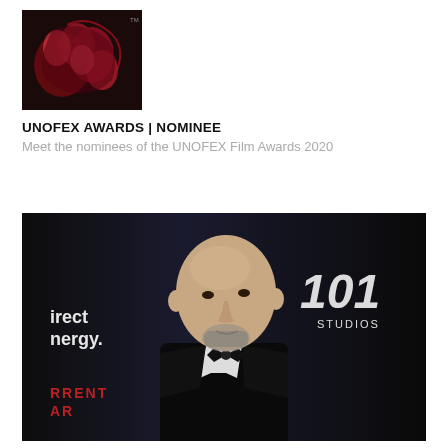[Figure (photo): UNOFEX Awards logo image — dark dramatic stylized red and black graphic]
UNOFEX AWARDS | NOMINEE
Meet the nominees of the UNOFEX Film Awards 2020
[Figure (photo): A bald man with a short beard wearing a black tuxedo with bow tie, photographed at a film event in front of '101 Studios', 'Direct Energy', and 'Current War' branded backdrops]